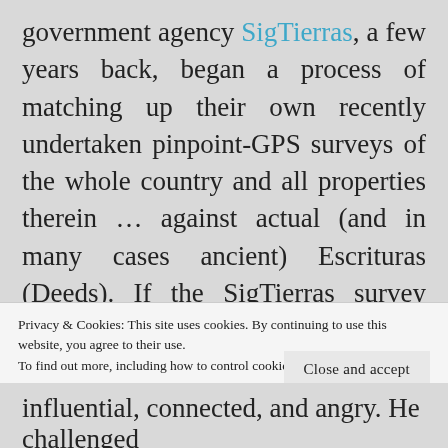government agency SigTierras, a few years back, began a process of matching up their own recently undertaken pinpoint-GPS surveys of the whole country and all properties therein ... against actual (and in many cases ancient) Escrituras (Deeds). If the SigTierras survey found an area of land GREATER than that which was listed on its Escritura, you are ... wait for this!!! ... required to BUY YOUR OWN LAND at the prevailing municipal-rated-value
Privacy & Cookies: This site uses cookies. By continuing to use this website, you agree to their use.
To find out more, including how to control cookies, see here: Cookie Policy
Close and accept
influential, connected, and angry. He challenged